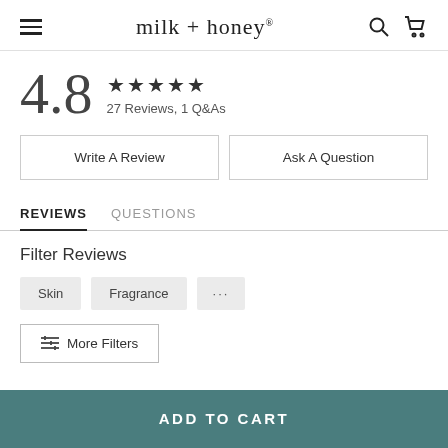milk + honey
4.8 ★★★★★ 27 Reviews, 1 Q&As
Write A Review
Ask A Question
REVIEWS  QUESTIONS
Filter Reviews
Skin  Fragrance  ...
More Filters
ADD TO CART